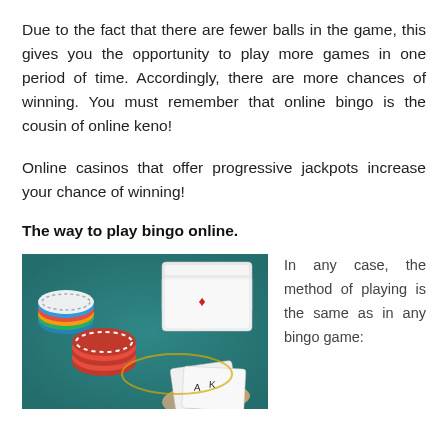Due to the fact that there are fewer balls in the game, this gives you the opportunity to play more games in one period of time. Accordingly, there are more chances of winning. You must remember that online bingo is the cousin of online keno!
Online casinos that offer progressive jackpots increase your chance of winning!
The way to play bingo online.
[Figure (photo): Photo of a casino table with poker chips (red, white, blue, green) and playing cards being held by a hand, on a teal/green felt surface.]
In any case, the method of playing is the same as in any bingo game: